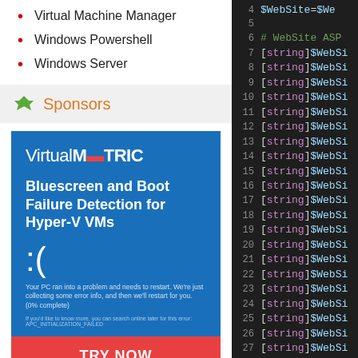Virtual Machine Manager
Windows Powershell
Windows Server
Sponsors
[Figure (infographic): VirtualMETRIC advertisement: Bluescreen and Boot Failure Detection for Hyper-V VMs, with BSOD face graphic and TRY NOW button]
[Figure (screenshot): PowerShell code editor showing lines 4-31 with [string]$WebSite variable declarations highlighted in pink/purple on dark background]